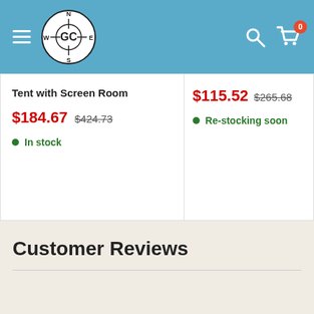GC Grand Compass navigation store header with menu, logo, search, and cart (0 items)
Tent with Screen Room
$184.67  $424.73  In stock
$115.52  $265.68  Re-stocking soon
Customer Reviews